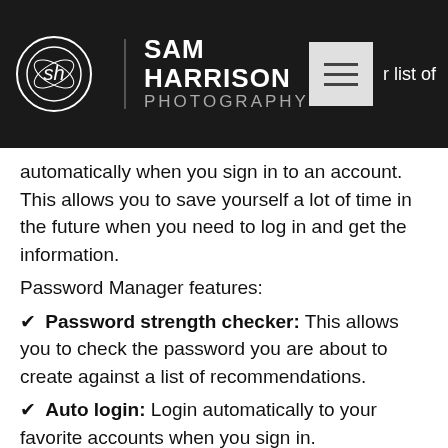SAM HARRISON PHOTOGRAPHY
automatically when you sign in to an account. This allows you to save yourself a lot of time in the future when you need to log in and get the information.
Password Manager features:
✔ Password strength checker: This allows you to check the password you are about to create against a list of recommendations.
✔ Auto login: Login automatically to your favorite accounts when you sign in.
✔ Save passwords: You can save all the passwords you want in one place.
✔ Add favorites: Add your favorite websites and programs to a favorites list for quick access.
✔ Select the way you want to see your passwords: You can choose between showing a list of all your passwords or with